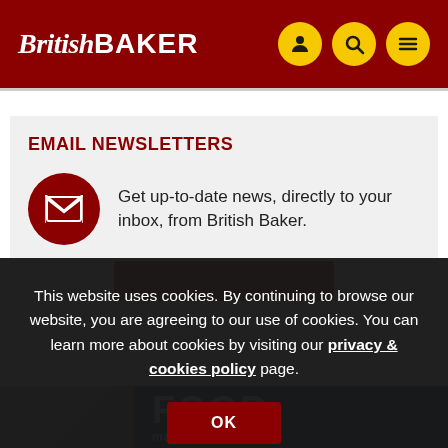British Baker
EMAIL NEWSLETTERS
Get up-to-date news, directly to your inbox, from British Baker.
This website uses cookies. By continuing to browse our website, you are agreeing to our use of cookies. You can learn more about cookies by visiting our privacy & cookies policy page.
FOOD manufacture